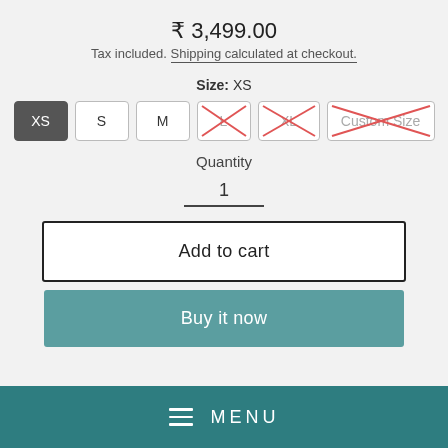₹ 3,499.00
Tax included. Shipping calculated at checkout.
Size: XS
XS S M L XL Custom Size
Quantity
1
Add to cart
Buy it now
MENU